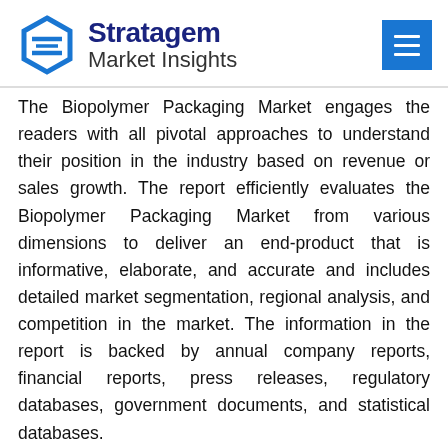Stratagem Market Insights
The Biopolymer Packaging Market engages the readers with all pivotal approaches to understand their position in the industry based on revenue or sales growth. The report efficiently evaluates the Biopolymer Packaging Market from various dimensions to deliver an end-product that is informative, elaborate, and accurate and includes detailed market segmentation, regional analysis, and competition in the market. The information in the report is backed by annual company reports, financial reports, press releases, regulatory databases, government documents, and statistical databases.
For the data information by region, company, type,